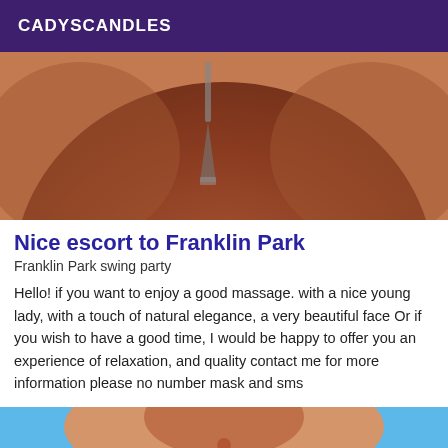CADYSCANDLES
[Figure (photo): Close-up photo showing lower body in swimwear, cropped image]
Nice escort to Franklin Park
Franklin Park swing party
Hello! if you want to enjoy a good massage. with a nice young lady, with a touch of natural elegance, a very beautiful face Or if you wish to have a good time, I would be happy to offer you an experience of relaxation, and quality contact me for more information please no number mask and sms
[Figure (photo): Partial photo of a person's torso at a beach or pool setting, with a 'Verified' badge overlay]